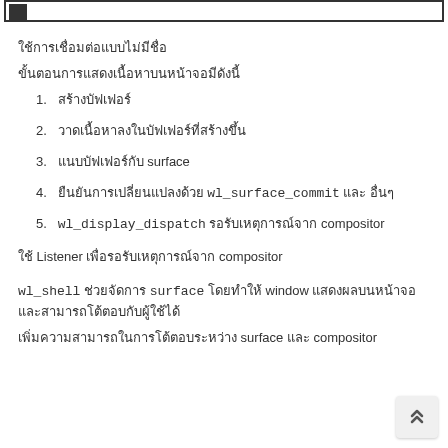ใช้การเชื่อมต่อแบบไม่มีชื่อ
ขั้นตอนการแสดงเนื้อหาบนหน้าจอมีดังนี้
1. สร้างบัฟเฟอร์
2. วาดเนื้อหาลงในบัฟเฟอร์ที่สร้างขึ้น
3. แนบบัฟเฟอร์กับ surface
4. ยืนยันการเปลี่ยนแปลงด้วย wl_surface_commit และ อื่นๆ
5. wl_display_dispatch รอรับเหตุการณ์จาก compositor
ใช้ Listener เพื่อรอรับเหตุการณ์จาก compositor
wl_shell ช่วยจัดการ surface โดยทำให้ window แสดงผลบนหน้าจอและสามารถโต้ตอบกับผู้ใช้ได้
เพิ่มความสามารถในการโต้ตอบระหว่าง surface และ compositor